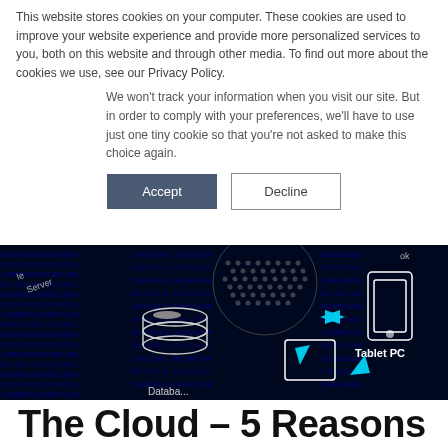This website stores cookies on your computer. These cookies are used to improve your website experience and provide more personalized services to you, both on this website and through other media. To find out more about the cookies we use, see our Privacy Policy.
We won't track your information when you visit our site. But in order to comply with your preferences, we'll have to use just one tiny cookie so that you're not asked to make this choice again.
Accept | Decline
[Figure (photo): Dark technology background image showing cloud computing network diagram with cyan arrows connecting icons labeled Database, Tablet PC, and other devices, overlaid on binary code background]
The Cloud – 5 Reasons